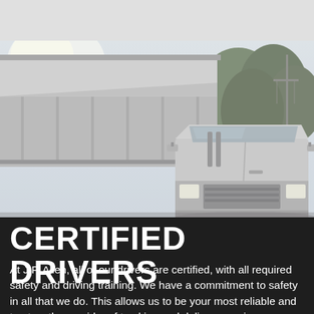[Figure (photo): A dump truck with its bed raised, photographed from a low angle showing the cab, mirrors, side panels, and trees in the background. The truck has a number '16.132' visible on the cab. The image has a slightly faded, overexposed look.]
CERTIFIED DRIVERS
At J.F. Allen, all of our drivers are certified, with all required safety and driving training. We have a commitment to safety in all that we do. This allows us to be your most reliable and trustworthy provider of trucking and delivery services.